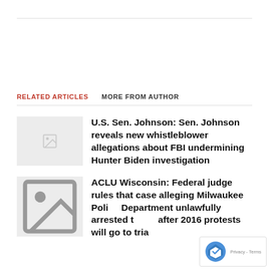RELATED ARTICLES   MORE FROM AUTHOR
U.S. Sen. Johnson: Sen. Johnson reveals new whistleblower allegations about FBI undermining Hunter Biden investigation
ACLU Wisconsin: Federal judge rules that case alleging Milwaukee Police Department unlawfully arrested t… after 2016 protests will go to tria…